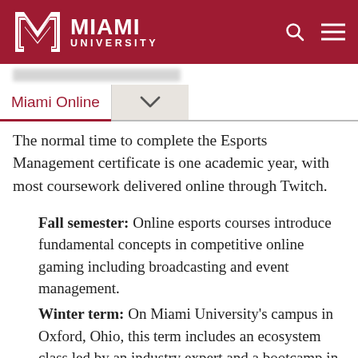Miami University
Miami Online
The normal time to complete the Esports Management certificate is one academic year, with most coursework delivered online through Twitch.
Fall semester: Online esports courses introduce fundamental concepts in competitive online gaming including broadcasting and event management.
Winter term: On Miami University's campus in Oxford, Ohio, this term includes an ecosystem class led by an industry expert and a bootcamp in which students help manage